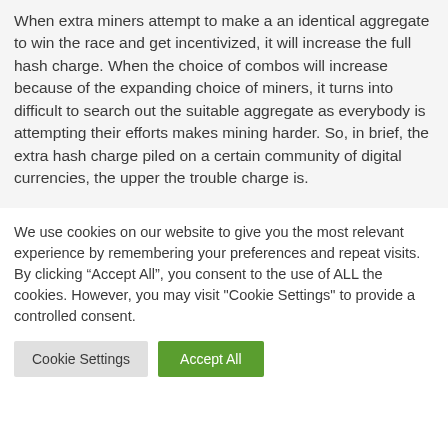When extra miners attempt to make a an identical aggregate to win the race and get incentivized, it will increase the full hash charge. When the choice of combos will increase because of the expanding choice of miners, it turns into difficult to search out the suitable aggregate as everybody is attempting their efforts makes mining harder. So, in brief, the extra hash charge piled on a certain community of digital currencies, the upper the trouble charge is.
We use cookies on our website to give you the most relevant experience by remembering your preferences and repeat visits. By clicking “Accept All”, you consent to the use of ALL the cookies. However, you may visit "Cookie Settings" to provide a controlled consent.